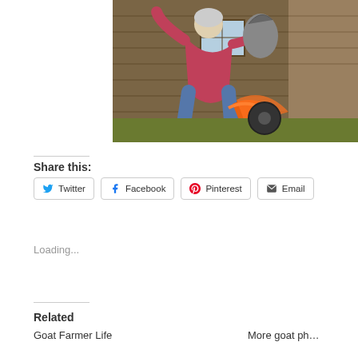[Figure (photo): Person in pink shirt bending over to pick up or hold a bird (chicken/rooster) near a wooden barn, with orange feathers visible, outdoor farm setting]
Share this:
Twitter  Facebook  Pinterest  Email
Loading...
Related
Goat Farmer Life
More goat ph…